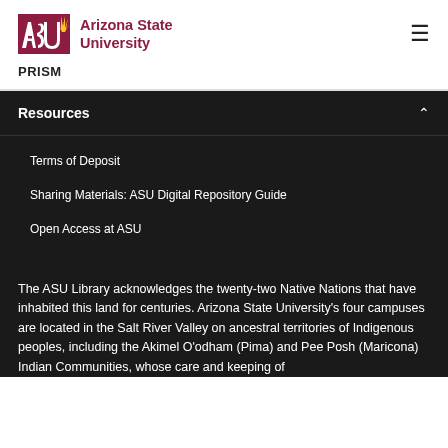[Figure (logo): Arizona State University ASU logo with sunburst icon in maroon and gold, text reads Arizona State University]
PRISM
Resources
Terms of Deposit
Sharing Materials: ASU Digital Repository Guide
Open Access at ASU
The ASU Library acknowledges the twenty-two Native Nations that have inhabited this land for centuries. Arizona State University's four campuses are located in the Salt River Valley on ancestral territories of Indigenous peoples, including the Akimel O'odham (Pima) and Pee Posh (Maricona) Indian Communities, whose care and keeping of